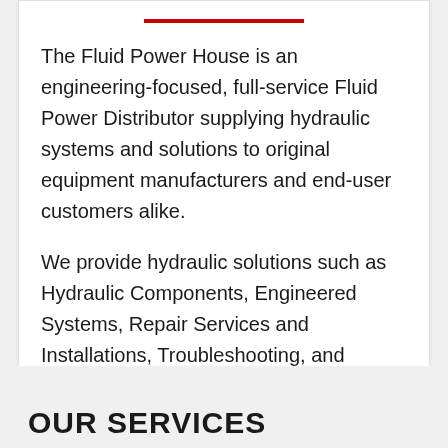The Fluid Power House is an engineering-focused, full-service Fluid Power Distributor supplying hydraulic systems and solutions to original equipment manufacturers and end-user customers alike.
We provide hydraulic solutions such as Hydraulic Components, Engineered Systems, Repair Services and Installations, Troubleshooting, and Training.
OUR SERVICES